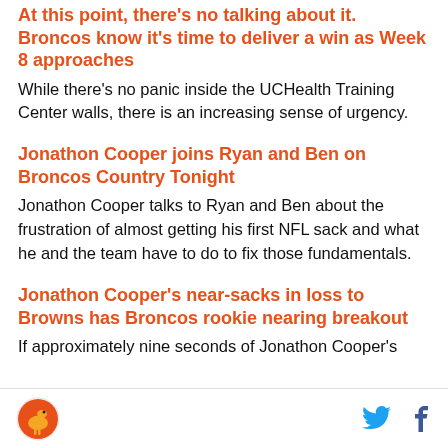At this point, there's no talking about it. Broncos know it's time to deliver a win as Week 8 approaches
While there's no panic inside the UCHealth Training Center walls, there is an increasing sense of urgency.
Jonathon Cooper joins Ryan and Ben on Broncos Country Tonight
Jonathon Cooper talks to Ryan and Ben about the frustration of almost getting his first NFL sack and what he and the team have to do to fix those fundamentals.
Jonathon Cooper's near-sacks in loss to Browns has Broncos rookie nearing breakout
If approximately nine seconds of Jonathon Cooper's
Logo and social icons